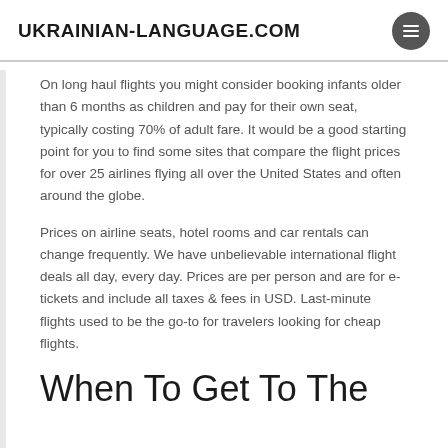UKRAINIAN-LANGUAGE.COM
On long haul flights you might consider booking infants older than 6 months as children and pay for their own seat, typically costing 70% of adult fare. It would be a good starting point for you to find some sites that compare the flight prices for over 25 airlines flying all over the United States and often around the globe.
Prices on airline seats, hotel rooms and car rentals can change frequently. We have unbelievable international flight deals all day, every day. Prices are per person and are for e-tickets and include all taxes & fees in USD. Last-minute flights used to be the go-to for travelers looking for cheap flights.
When To Get To The